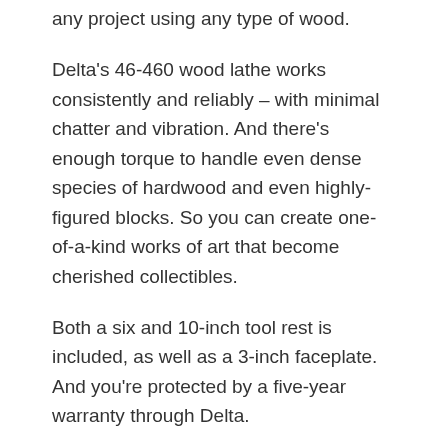any project using any type of wood.
Delta's 46-460 wood lathe works consistently and reliably – with minimal chatter and vibration. And there's enough torque to handle even dense species of hardwood and even highly-figured blocks. So you can create one-of-a-kind works of art that become cherished collectibles.
Both a six and 10-inch tool rest is included, as well as a 3-inch faceplate. And you're protected by a five-year warranty through Delta.
It's a quality machine that has stood the test of time. Take a closer look and you'll discover that the live